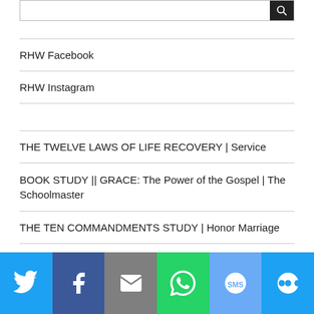RHW Facebook
RHW Instagram
THE TWELVE LAWS OF LIFE RECOVERY | Service
BOOK STUDY || GRACE: The Power of the Gospel | The Schoolmaster
THE TEN COMMANDMENTS STUDY | Honor Marriage
MUSIC REVIEW :: PEACE by Bethel Music
[Figure (other): Social share bar with Twitter, Facebook, Email, WhatsApp, SMS, and More buttons]